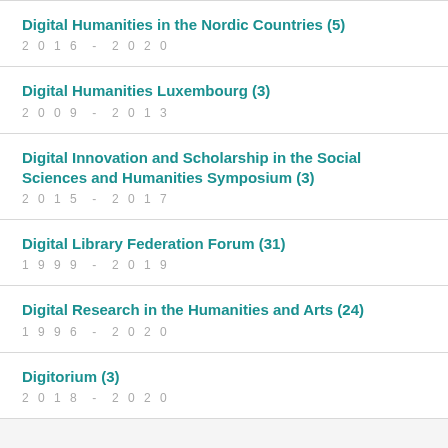Digital Humanities in the Nordic Countries (5)
2016 - 2020
Digital Humanities Luxembourg (3)
2009 - 2013
Digital Innovation and Scholarship in the Social Sciences and Humanities Symposium (3)
2015 - 2017
Digital Library Federation Forum (31)
1999 - 2019
Digital Research in the Humanities and Arts (24)
1996 - 2020
Digitorium (3)
2018 - 2020